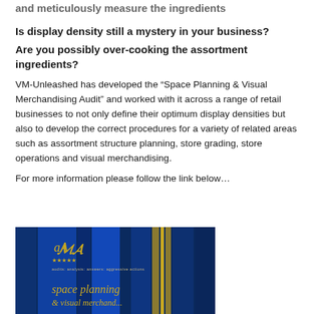and meticulously measure the ingredients
Is display density still a mystery in your business?
Are you possibly over-cooking the assortment ingredients?
VM-Unleashed has developed the “Space Planning & Visual Merchandising Audit” and worked with it across a range of retail businesses to not only define their optimum display densities but also to develop the correct procedures for a variety of related areas such as assortment structure planning, store grading, store operations and visual merchandising.
For more information please follow the link below…
[Figure (illustration): Book cover for 'space planning' with dark blue background, vertical stripe design, gold logo/stars and text 'audits: analysis: answers: aggressive actions', and 'space planning' text at bottom]